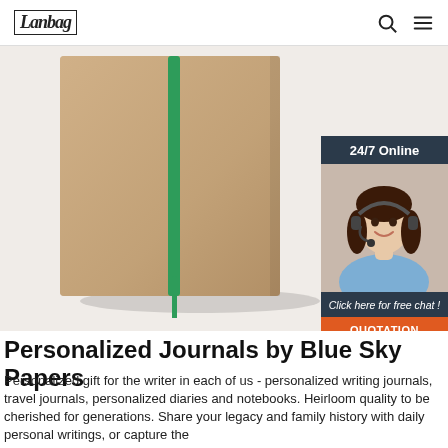Lanbag | 24/7 Online
[Figure (photo): A kraft brown hardcover journal/notebook with a green elastic band and a green ribbon bookmark, photographed on a white background. There is also a customer service chat widget showing a smiling woman with a headset, with '24/7 Online' header, 'Click here for free chat!' and an orange 'QUOTATION' button.]
Personalized Journals by Blue Sky Papers
Personalized gift for the writer in each of us - personalized writing journals, travel journals, personalized diaries and notebooks. Heirloom quality to be cherished for generations. Share your legacy and family history with daily personal writings, or capture the